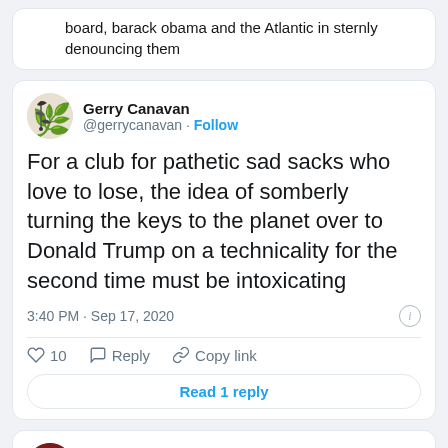board, barack obama and the Atlantic in sternly denouncing them
Gerry Canavan @gerrycanavan · Follow
For a club for pathetic sad sacks who love to lose, the idea of somberly turning the keys to the planet over to Donald Trump on a technicality for the second time must be intoxicating
3:40 PM · Sep 17, 2020
10  Reply  Copy link
Read 1 reply
Nathan J Robinson @NathanJRobinson · Follow